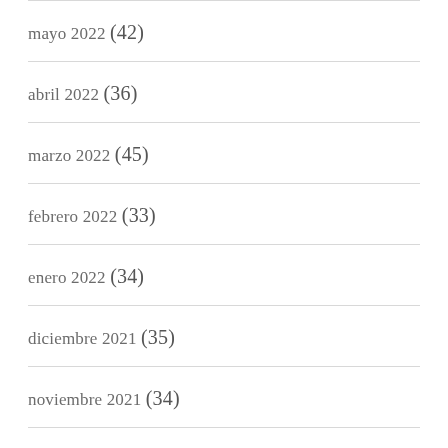mayo 2022 (42)
abril 2022 (36)
marzo 2022 (45)
febrero 2022 (33)
enero 2022 (34)
diciembre 2021 (35)
noviembre 2021 (34)
octubre 2021 (32)